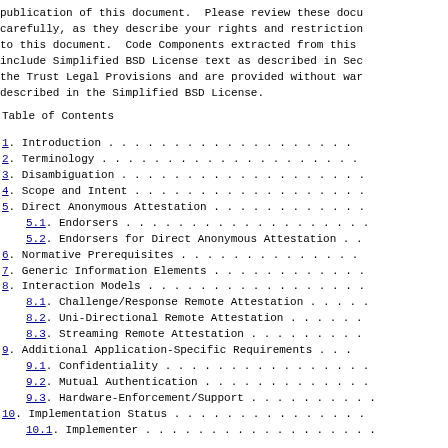publication of this document.  Please review these docu carefully, as they describe your rights and restriction to this document.  Code Components extracted from this include Simplified BSD License text as described in Sec the Trust Legal Provisions and are provided without war described in the Simplified BSD License.
Table of Contents
1.  Introduction . . . . . . . . . . . . . . . . . . .
2.  Terminology . . . . . . . . . . . . . . . . . . . .
3.  Disambiguation . . . . . . . . . . . . . . . . . . .
4.  Scope and Intent . . . . . . . . . . . . . . . . . .
5.  Direct Anonymous Attestation . . . . . . . . . . . .
5.1.  Endorsers . . . . . . . . . . . . . . . . . . .
5.2.  Endorsers for Direct Anonymous Attestation . .
6.  Normative Prerequisites . . . . . . . . . . . . . .
7.  Generic Information Elements . . . . . . . . . . . .
8.  Interaction Models . . . . . . . . . . . . . . . . .
8.1.  Challenge/Response Remote Attestation . . . . .
8.2.  Uni-Directional Remote Attestation . . . . . .
8.3.  Streaming Remote Attestation . . . . . . . . .
9.  Additional Application-Specific Requirements . . .
9.1.  Confidentiality . . . . . . . . . . . . . . . .
9.2.  Mutual Authentication . . . . . . . . . . . . .
9.3.  Hardware-Enforcement/Support . . . . . . . . . .
10. Implementation Status . . . . . . . . . . . . . . .
10.1.  Implementer . . . . . . . . . . . . . . . . . .